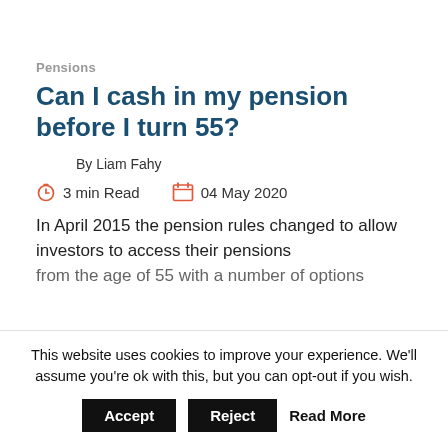Pensions
Can I cash in my pension before I turn 55?
By Liam Fahy
3 min Read   04 May 2020
In April 2015 the pension rules changed to allow investors to access their pensions from the age of 55 with a number of options
This website uses cookies to improve your experience. We'll assume you're ok with this, but you can opt-out if you wish.